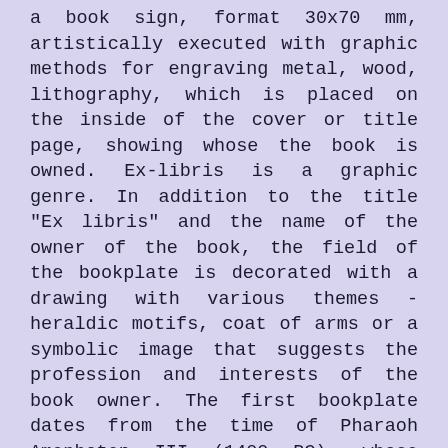a book sign, format 30x70 mm, artistically executed with graphic methods for engraving metal, wood, lithography, which is placed on the inside of the cover or title page, showing whose the book is owned. Ex-libris is a graphic genre. In addition to the title "Ex libris" and the name of the owner of the book, the field of the bookplate is decorated with a drawing with various themes - heraldic motifs, coat of arms or a symbolic image that suggests the profession and interests of the book owner. The first bookplate dates from the time of Pharaoh Amenhotep III (1400 BC), whose text is written in hieroglyphs on earthenware.
The third edition of the Biennale was dedicated to classical graphic techniques. 770 works by 313 authors from 38 countries took part. In the top three of the countries with the most participating artists were Russia - with 42, China and Turkey with 31. Ex-libris from 25 artists were received from Bulgaria. There were many artists - world-renowned names in the field of small graphics and bookplates, who send their works to participate for the first time, which shows that the International Bookplate Competition Varna is gaining...